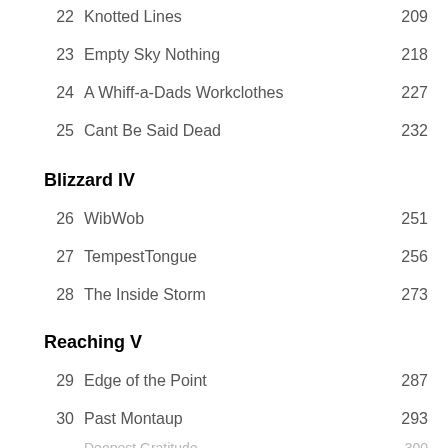22  Knotted Lines  209
23  Empty Sky Nothing  218
24  A Whiff-a-Dads Workclothes  227
25  Cant Be Said Dead  232
Blizzard IV
26  WibWob  251
27  TempestTongue  256
28  The Inside Storm  273
Reaching V
29  Edge of the Point  287
30  Past Montaup  293
Deepest Gratitude  300